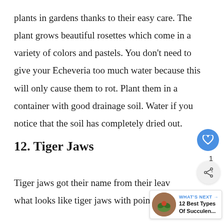plants in gardens thanks to their easy care. The plant grows beautiful rosettes which come in a variety of colors and pastels. You don't need to give your Echeveria too much water because this will only cause them to rot. Plant them in a container with good drainage soil. Water if you notice that the soil has completely dried out.
12. Tiger Jaws
Tiger jaws got their name from their leaves which look what looks like tiger jaws with pointy teeth. The